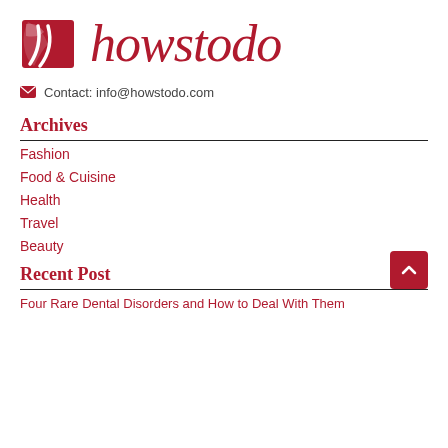[Figure (logo): howstodo website logo with red square icon and cursive red text 'howstodo']
Contact: info@howstodo.com
Archives
Fashion
Food & Cuisine
Health
Travel
Beauty
Recent Post
Four Rare Dental Disorders and How to Deal With Them